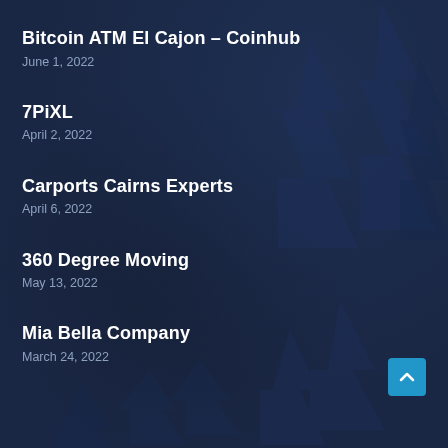[Figure (illustration): Dark navy blue background with faint pine/fir tree silhouettes creating a forest scene overlay]
Bitcoin ATM El Cajon – Coinhub
June 1, 2022
7PiXL
April 2, 2022
Carports Cairns Experts
April 6, 2022
360 Degree Moving
May 13, 2022
Mia Bella Company
March 24, 2022